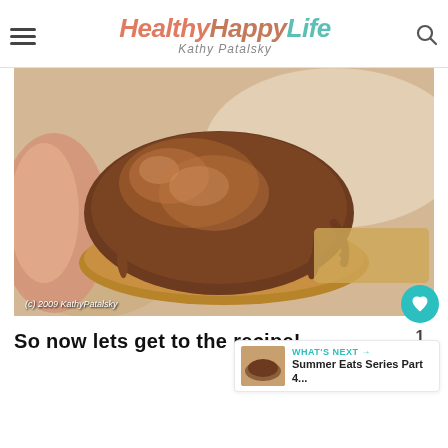HealthyHappyLife — Kathy Patalsky
[Figure (photo): Close-up photo of a chocolate-covered cookie or treat being held, with glossy melted chocolate on top and a toasted coconut base. Copyright (c) 2009 KathyPatalsky.]
So now lets get to the recipe!
WHAT'S NEXT → Summer Eats Series Part 4...